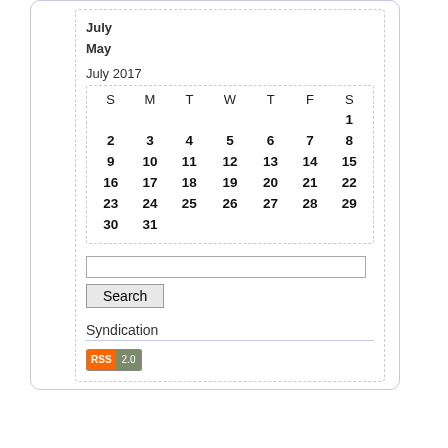July
May
July 2017
| S | M | T | W | T | F | S |
| --- | --- | --- | --- | --- | --- | --- |
|  |  |  |  |  |  | 1 |
| 2 | 3 | 4 | 5 | 6 | 7 | 8 |
| 9 | 10 | 11 | 12 | 13 | 14 | 15 |
| 16 | 17 | 18 | 19 | 20 | 21 | 22 |
| 23 | 24 | 25 | 26 | 27 | 28 | 29 |
| 30 | 31 |  |  |  |  |  |
[Figure (screenshot): Search input field and Search button]
Syndication
[Figure (logo): RSS 2.0 badge]